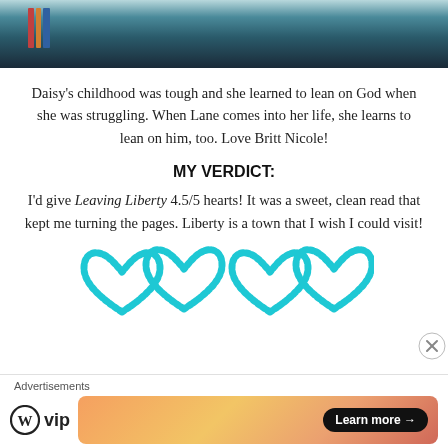[Figure (photo): Partial photo at top of page showing a person in dark clothing against a teal/dark background with bookshelves visible]
Daisy's childhood was tough and she learned to lean on God when she was struggling. When Lane comes into her life, she learns to lean on him, too. Love Britt Nicole!
MY VERDICT:
I'd give Leaving Liberty 4.5/5 hearts! It was a sweet, clean read that kept me turning the pages. Liberty is a town that I wish I could visit!
[Figure (illustration): Teal/cyan decorative heart outlines arranged in a row at bottom of page]
Advertisements
[Figure (logo): WordPress VIP logo with circle W icon and 'vip' text]
[Figure (illustration): Gradient advertisement banner with Learn more button]